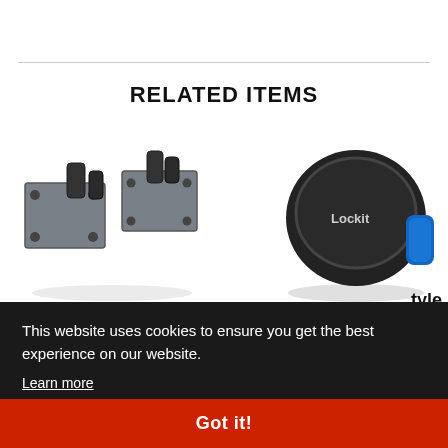RELATED ITEMS
[Figure (photo): Metal mounting bracket hardware for lock, showing flat plate and hooks]
[Figure (photo): Lockit brand round black lock with blue accent tab]
tyle
num
This website uses cookies to ensure you get the best experience on our website.
Learn more
Got it!